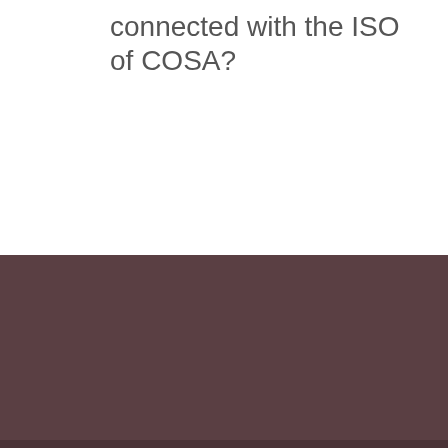connected with the ISO of COSA?
Entries feed
Comments feed
WordPress.org